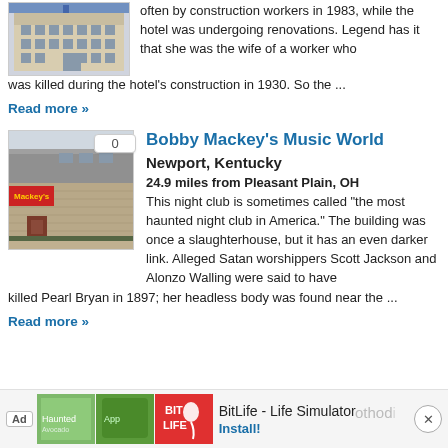[Figure (photo): Photo of a large European-style building with columns]
often by construction workers in 1983, while the hotel was undergoing renovations. Legend has it that she was the wife of a worker who was killed during the hotel's construction in 1930. So the ...
Read more »
[Figure (photo): Photo of Bobby Mackey's Music World building exterior, a brick and metal sided building]
Bobby Mackey's Music World
Newport, Kentucky
24.9 miles from Pleasant Plain, OH
This night club is sometimes called "the most haunted night club in America." The building was once a slaughterhouse, but it has an even darker link. Alleged Satan worshippers Scott Jackson and Alonzo Walling were said to have killed Pearl Bryan in 1897; her headless body was found near the ...
Read more »
[Figure (screenshot): Advertisement bar for BitLife - Life Simulator app with green and red app icons and Install button]